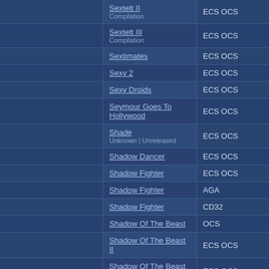|  | Title | Chipset |
| --- | --- | --- |
|  | Sextett II
Compilation | ECS OCS |
|  | Sextett III
Compilation | ECS OCS |
|  | Sextimates | ECS OCS |
|  | Sexy 2 | ECS OCS |
|  | Sexy Droids | ECS OCS |
|  | Seymour Goes To Hollywood | ECS OCS |
|  | Shade
Unknown | Unreleased | ECS OCS |
|  | Shadow Dancer | ECS OCS |
|  | Shadow Fighter | ECS OCS |
|  | Shadow Fighter | AGA |
|  | Shadow Fighter | CD32 |
|  | Shadow Of The Beast | OCS |
|  | Shadow Of The Beast II | ECS OCS |
|  | Shadow Of The Beast III | ECS OCS |
|  | Shadow Of The Devil | ECS OCS |